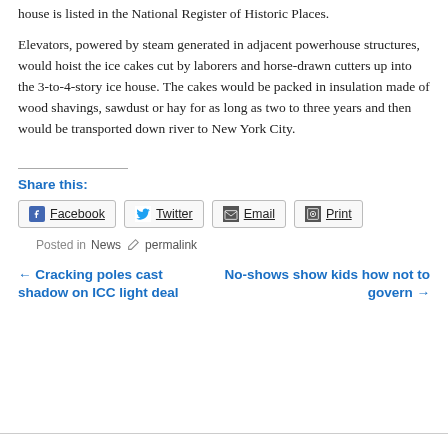house is listed in the National Register of Historic Places.
Elevators, powered by steam generated in adjacent powerhouse structures, would hoist the ice cakes cut by laborers and horse-drawn cutters up into the 3-to-4-story ice house. The cakes would be packed in insulation made of wood shavings, sawdust or hay for as long as two to three years and then would be transported down river to New York City.
Share this:
Facebook  Twitter  Email  Print
Posted in News  permalink
← Cracking poles cast shadow on ICC light deal
No-shows show kids how not to govern →